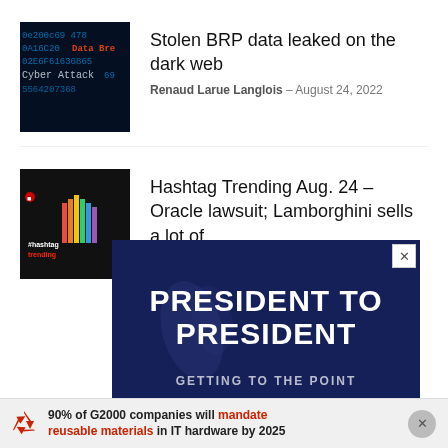[Figure (screenshot): Cyber attack / data breach thumbnail image with red text overlays showing hex codes]
Stolen BRP data leaked on the dark web
Renaud Larue Langlois - August 24, 2022
[Figure (screenshot): Black background with #hashtag trending logo and colorful upward arrow]
Hashtag Trending Aug. 24 – Oracle lawsuit; Lamborghini sells a lot of...
Tom Li - August 24, 2022
[Figure (infographic): Advertisement banner with dark blue background showing PRESIDENT TO PRESIDENT text]
90% of G2000 companies will mandate reusable materials in IT hardware by 2025